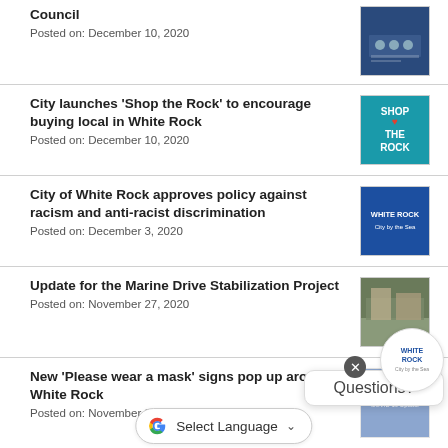Council
Posted on: December 10, 2020
City launches ‘Shop the Rock’ to encourage buying local in White Rock
Posted on: December 10, 2020
City of White Rock approves policy against racism and anti-racist discrimination
Posted on: December 3, 2020
Update for the Marine Drive Stabilization Project
Posted on: November 27, 2020
New ‘Please wear a mask’ signs pop up around White Rock
Posted on: November 27, 2020
Response f[Select Language]k: Sales agents testing water in homes